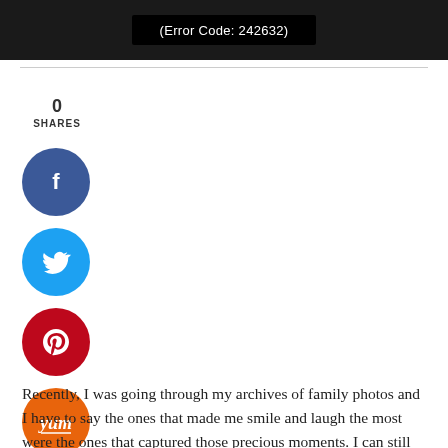[Figure (screenshot): Video error screen showing black background with white text reading (Error Code: 242632)]
[Figure (infographic): Social sharing widget with 0 SHARES count and four circular social media buttons: Facebook (blue), Twitter (light blue), Pinterest (red), Yummly (orange with yum text)]
Recently, I was going through my archives of family photos and I have to say the ones that made me smile and laugh the most were the ones that captured those precious moments. I can still remember the time and place that those pictures were taken, and all the laughter in those minutes leading up to the shot.